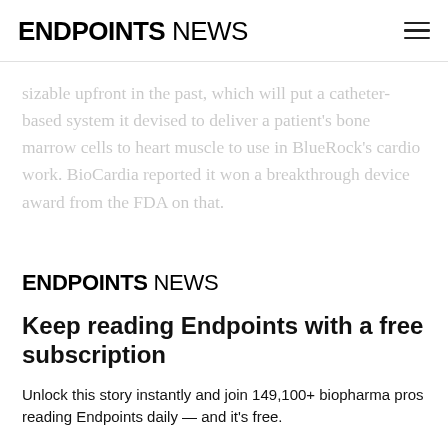ENDPOINTS NEWS
sizable upfront in the past, which will put a catheter-based system it devised to deliver a patient's bone marrow cells to heart muscle to use in BlueRock's cardio work. BioCardia reported it won a breakthrough device award from the FDA on that.
[Figure (logo): Endpoints News logo — ENDPOINTS in bold, NEWS in regular weight]
Keep reading Endpoints with a free subscription
Unlock this story instantly and join 149,100+ biopharma pros reading Endpoints daily — and it's free.
SIGN UP   LOG IN